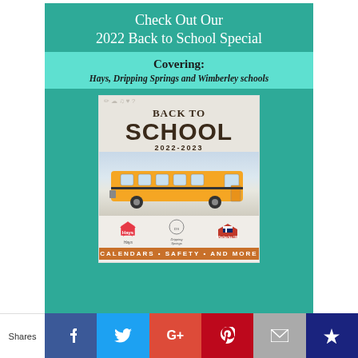Check Out Our 2022 Back to School Special
Covering: Hays, Dripping Springs and Wimberley schools
[Figure (illustration): Back to School 2022-2023 promotional cover image featuring a yellow school bus, school logos for Hays, Dripping Springs, and Wimberley ISD, with text: BACK TO SCHOOL 2022-2023, CALENDARS • SAFETY • AND MORE. A product of Barton Publications.]
Shares
[Figure (infographic): Social sharing bar with Facebook, Twitter, Google+, Pinterest, Email, and Crown/Bookmark icons]